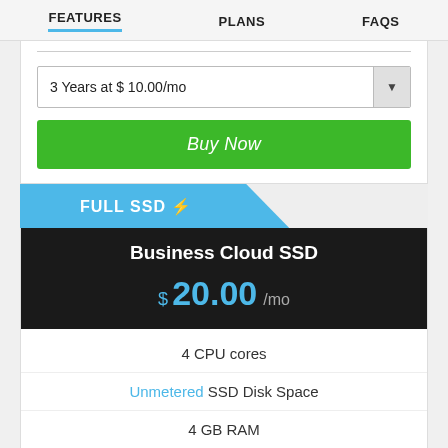FEATURES   PLANS   FAQS
3 Years at $ 10.00/mo
Buy Now
FULL SSD ⚡
Business Cloud SSD
$ 20.00 /mo
4 CPU cores
Unmetered SSD Disk Space
4 GB RAM
Unmetered Bandwidth
Host Unlimited Websites
Unlimited Email Accounts